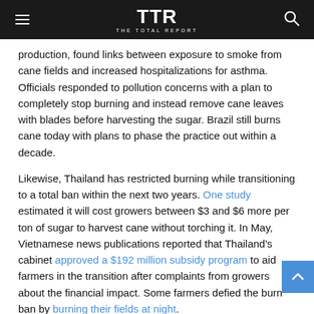TTR THE TOTAL REPORT
production, found links between exposure to smoke from cane fields and increased hospitalizations for asthma. Officials responded to pollution concerns with a plan to completely stop burning and instead remove cane leaves with blades before harvesting the sugar. Brazil still burns cane today with plans to phase the practice out within a decade.
Likewise, Thailand has restricted burning while transitioning to a total ban within the next two years. One study estimated it will cost growers between $3 and $6 more per ton of sugar to harvest cane without torching it. In May, Vietnamese news publications reported that Thailand's cabinet approved a $192 million subsidy program to aid farmers in the transition after complaints from growers about the financial impact. Some farmers defied the burn ban by burning their fields at night.